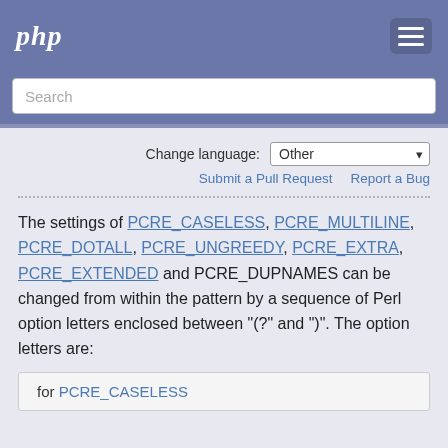php
Search
Change language: Other
Submit a Pull Request   Report a Bug
The settings of PCRE_CASELESS, PCRE_MULTILINE, PCRE_DOTALL, PCRE_UNGREEDY, PCRE_EXTRA, PCRE_EXTENDED and PCRE_DUPNAMES can be changed from within the pattern by a sequence of Perl option letters enclosed between "(?" and ")". The option letters are:
for PCRE_CASELESS